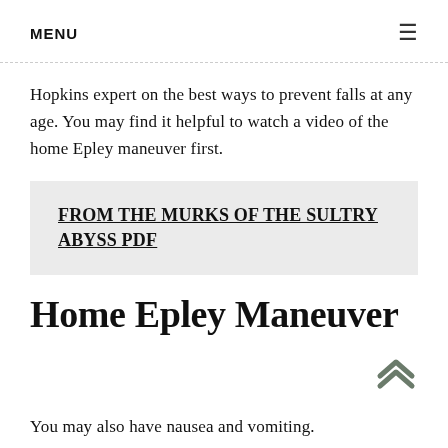MENU
Hopkins expert on the best ways to prevent falls at any age. You may find it helpful to watch a video of the home Epley maneuver first.
FROM THE MURKS OF THE SULTRY ABYSS PDF
Home Epley Maneuver
You may also have nausea and vomiting.